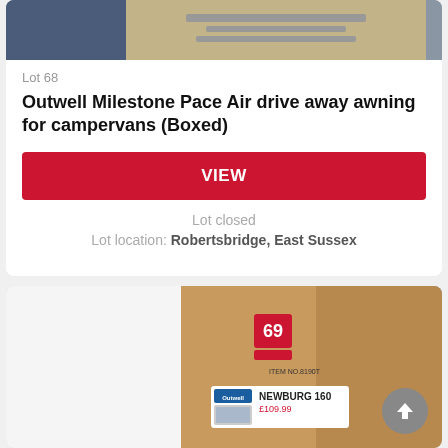[Figure (photo): Photo of a boxed Outwell product on a blue background, partially visible at top of card]
Lot 68
Outwell Milestone Pace Air drive away awning for campervans (Boxed)
VIEW
Lot closed
Lot location: Robertsbridge, East Sussex
[Figure (photo): Photo of a boxed Outwell Newburg 160 product with lot number 69 label, partially visible]